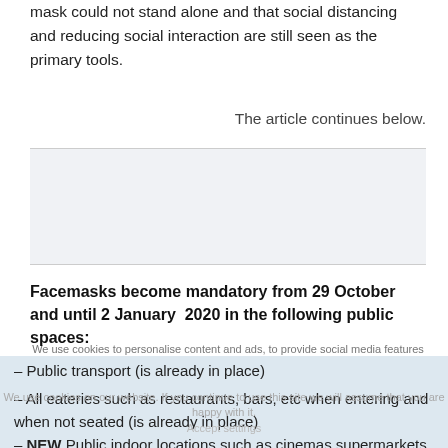mask could not stand alone and that social distancing and reducing social interaction are still seen as the primary tools.
The article continues below.
[Figure (other): Advertisement/cookie notice placeholder box with light grey background]
Facemasks become mandatory from 29 October and until 2 January 2020 in the following public spaces:
– Public transport (is already in place)
– All eateries such as restaurants, bars, etc when entering and when not seated (is already in place)
– NEW Public indoor locations such as cinemas supermarkets, shopping malls, libraries, museums etc
– New administrations including...